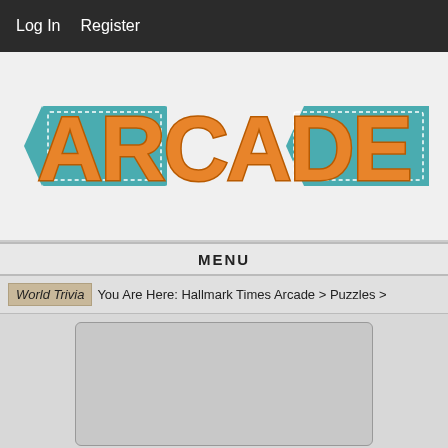Log In   Register
[Figure (logo): Hallmark Times Arcade logo with large orange ARCADE text and teal ribbon/banner decorations on left and right]
MENU
World Trivia   You Are Here: Hallmark Times Arcade > Puzzles >
[Figure (other): Gray placeholder content box with rounded corners and border]